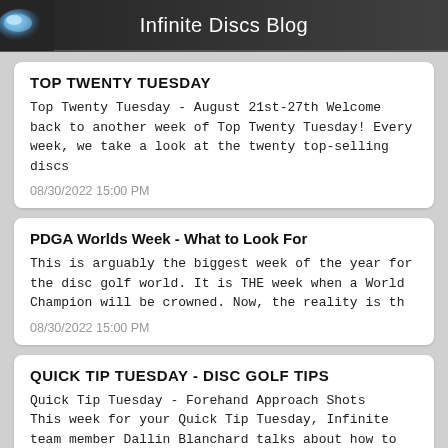Infinite Discs Blog
TOP TWENTY TUESDAY
Top Twenty Tuesday - August 21st-27th Welcome back to another week of Top Twenty Tuesday! Every week, we take a look at the twenty top-selling discs
08/30/2022 15:00 PM
PDGA Worlds Week - What to Look For
This is arguably the biggest week of the year for the disc golf world. It is THE week when a World Champion will be crowned. Now, the reality is th
08/30/2022 15:00 PM
QUICK TIP TUESDAY - DISC GOLF TIPS
Quick Tip Tuesday - Forehand Approach Shots   This week for your Quick Tip Tuesday, Infinite team member Dallin Blanchard talks about how to ex
08/30/2022 15:00 PM
New Discs Releases
New Disc Releases - Aug. 14-27   Prodiscus Discs - Origo This is the newest Prodiscus putter, the Origo. This mold is a beadless putt-and-a
08/30/2022 15:00 PM